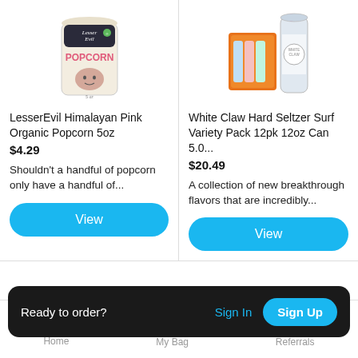[Figure (photo): LesserEvil Himalayan Pink Organic Popcorn 5oz product bag image]
[Figure (photo): White Claw Hard Seltzer Surf Variety Pack 12pk 12oz Can product image]
LesserEvil Himalayan Pink Organic Popcorn 5oz
$4.29
Shouldn't a handful of popcorn only have a handful of...
View
White Claw Hard Seltzer Surf Variety Pack 12pk 12oz Can 5.0...
$20.49
A collection of new breakthrough flavors that are incredibly...
View
Ready to order?
Sign In
Sign Up
Home   My Bag   Referrals